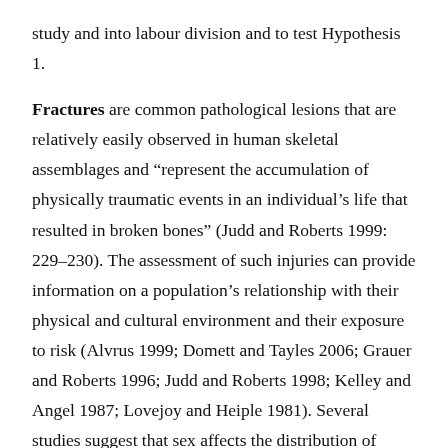study and into labour division and to test Hypothesis 1.
Fractures are common pathological lesions that are relatively easily observed in human skeletal assemblages and "represent the accumulation of physically traumatic events in an individual's life that resulted in broken bones" (Judd and Roberts 1999: 229-230). The assessment of such injuries can provide information on a population's relationship with their physical and cultural environment and their exposure to risk (Alvrus 1999; Domett and Tayles 2006; Grauer and Roberts 1996; Judd and Roberts 1998; Kelley and Angel 1987; Lovejoy and Heiple 1981). Several studies suggest that sex affects the distribution of fractures in a population and have shown significant differences in their prevalence between males and females (Judd 2004; Judd and Roberts 1999; Standen and Arriaza 2000). In this paper, and on the basis